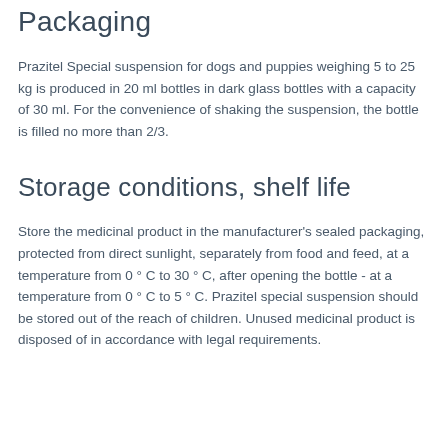Packaging
Prazitel Special suspension for dogs and puppies weighing 5 to 25 kg is produced in 20 ml bottles in dark glass bottles with a capacity of 30 ml. For the convenience of shaking the suspension, the bottle is filled no more than 2/3.
Storage conditions, shelf life
Store the medicinal product in the manufacturer's sealed packaging, protected from direct sunlight, separately from food and feed, at a temperature from 0 ° C to 30 ° C, after opening the bottle - at a temperature from 0 ° C to 5 ° C. Prazitel special suspension should be stored out of the reach of children. Unused medicinal product is disposed of in accordance with legal requirements.